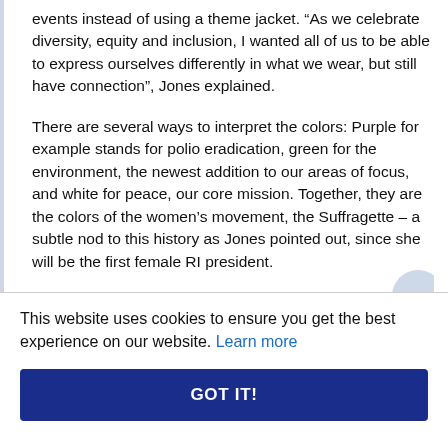events instead of using a theme jacket. “As we celebrate diversity, equity and inclusion, I wanted all of us to be able to express ourselves differently in what we wear, but still have connection”, Jones explained.
There are several ways to interpret the colors: Purple for example stands for polio eradication, green for the environment, the newest addition to our areas of focus, and white for peace, our core mission. Together, they are the colors of the women’s movement, the Suffragette – a subtle nod to this history as Jones pointed out, since she will be the first female RI president.
This website uses cookies to ensure you get the best experience on our website. Learn more
GOT IT!